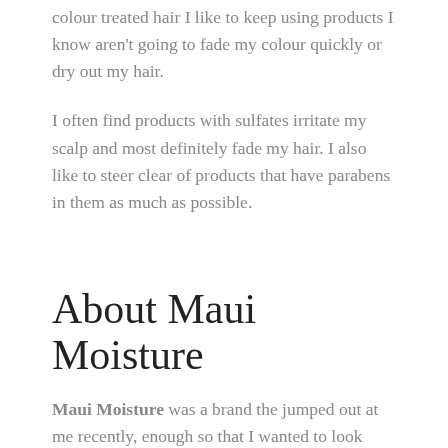colour treated hair I like to keep using products I know aren't going to fade my colour quickly or dry out my hair.
I often find products with sulfates irritate my scalp and most definitely fade my hair. I also like to steer clear of products that have parabens in them as much as possible.
About Maui Moisture
Maui Moisture was a brand the jumped out at me recently, enough so that I wanted to look more into the brand. They claim to be Cruelty-free, Vegan and a more natural alternative. They use a blend